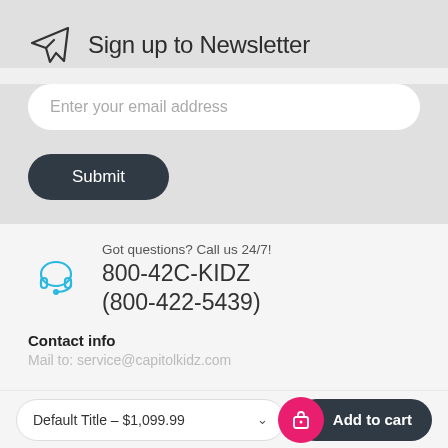Sign up to Newsletter
Enter your email address
Submit
Got questions? Call us 24/7!
800-42C-KIDZ
(800-422-5439)
Contact info
Mail to: service@capitolkidz.com
Default Title – $1,099.99
Add to cart